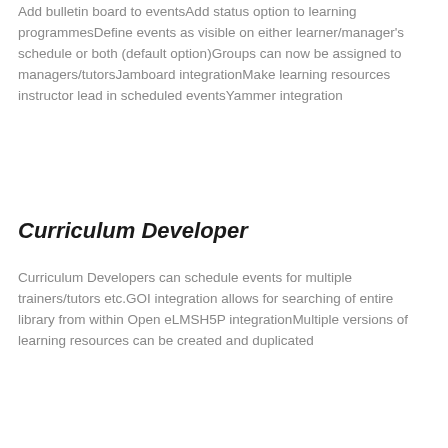Add bulletin board to eventsAdd status option to learning programmesDefine events as visible on either learner/manager's schedule or both (default option)Groups can now be assigned to managers/tutorsJamboard integrationMake learning resources instructor lead in scheduled eventsYammer integration
Curriculum Developer
Curriculum Developers can schedule events for multiple trainers/tutors etc.GOI integration allows for searching of entire library from within Open eLMSH5P integrationMultiple versions of learning resources can be created and duplicated